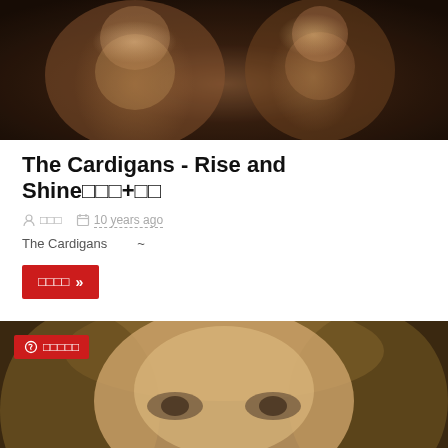[Figure (photo): Blurry photo of two people, appears to be a music video still with warm brown tones]
The Cardigans - Rise and Shine□□□+□□
□□□  10 years ago
The Cardigans  ~
□□□□ »
[Figure (photo): Close-up photo of a blonde woman's face with brown eyes, appears to be a music video still. Red badge overlay in top-left corner reading '□ □□□□']